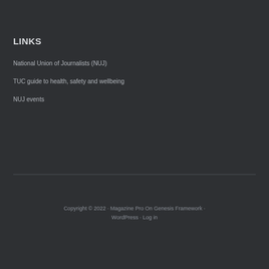LINKS
National Union of Journalists (NUJ)
TUC guide to health, safety and wellbeing
NUJ events
Copyright © 2022 · Magazine Pro On Genesis Framework · WordPress · Log in